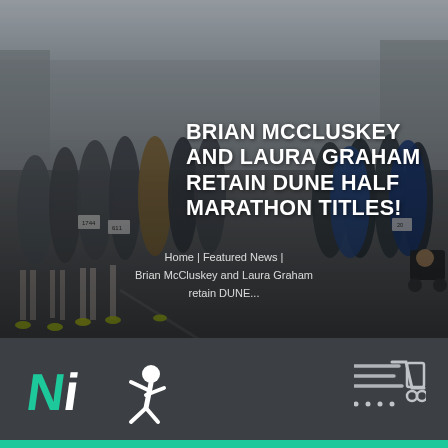[Figure (photo): Crowd of marathon runners at the starting line of the Dune Half Marathon, with race bib numbers visible. Outdoor road race scene with trees and buildings in background.]
BRIAN MCCLUSKEY AND LAURA GRAHAM RETAIN DUNE HALF MARATHON TITLES!
Home | Featured News | Brian McCluskey and Laura Graham retain DUNE...
[Figure (logo): NI Running logo — stylized NI letters in teal/white with a running figure icon]
[Figure (logo): Shopping cart icon in white/grey lines]